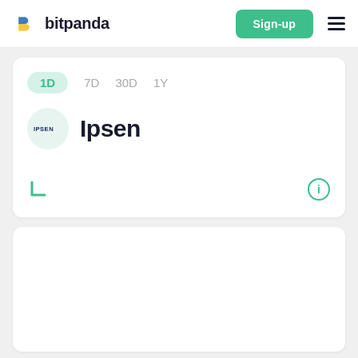bitpanda
[Figure (screenshot): Bitpanda logo icon (stylized B in blue and yellow)]
Sign-up
[Figure (other): Hamburger menu icon (three horizontal lines)]
1D  7D  30D  1Y
[Figure (logo): Ipsen company logo inside a light green circle]
Ipsen
[Figure (other): Small green corner arrow indicating chart direction]
[Figure (other): Info icon (circled i) in green]